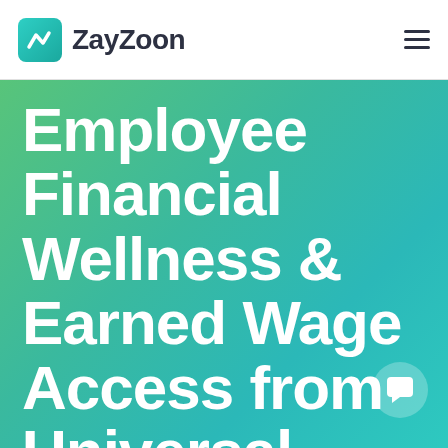ZayZoon
Employee Financial Wellness & Earned Wage Access from Universal Screen